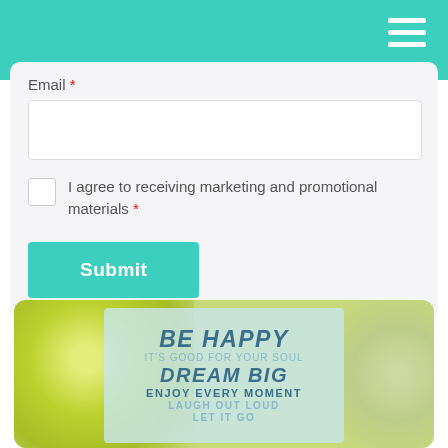Navigation bar with hamburger menu
Email *
I agree to receiving marketing and promotional materials *
Submit
[Figure (photo): Motivational quote image over bokeh background with text: BE HAPPY, it's good for your soul, DREAM BIG, ENJOY EVERY MOMENT, LAUGH OUT LOUD, LET IT GO]